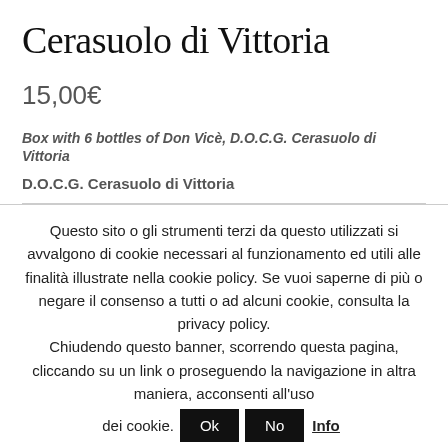Cerasuolo di Vittoria
15,00€
Box with 6 bottles of Don Vicè, D.O.C.G. Cerasuolo di Vittoria
D.O.C.G. Cerasuolo di Vittoria
Questo sito o gli strumenti terzi da questo utilizzati si avvalgono di cookie necessari al funzionamento ed utili alle finalità illustrate nella cookie policy. Se vuoi saperne di più o negare il consenso a tutti o ad alcuni cookie, consulta la privacy policy.
Chiudendo questo banner, scorrendo questa pagina, cliccando su un link o proseguendo la navigazione in altra maniera, acconsenti all'uso dei cookie.
Ok   No   Info